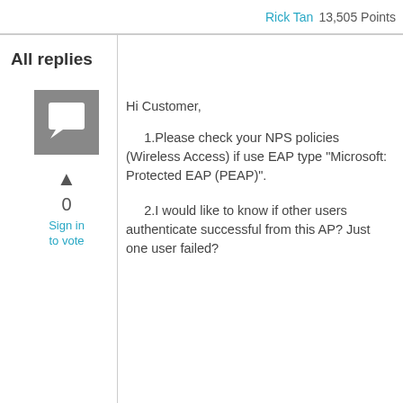Rick Tan   13,505 Points
All replies
[Figure (other): User avatar placeholder icon — grey square with white speech bubble icon]
0
Sign in to vote
Hi Customer,

1.Please check your NPS policies (Wireless Access) if use EAP type "Microsoft: Protected EAP (PEAP)".

2.I would like to know if other users authenticate successful from this AP? Just one user failed?